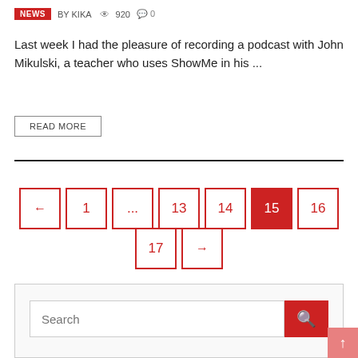NEWS  BY KIKA  👁 920  💬 0
Last week I had the pleasure of recording a podcast with John Mikulski, a teacher who uses ShowMe in his ...
READ MORE
[Figure (other): Pagination navigation with buttons: ← 1 ... 13 14 15(active) 16 17 →]
[Figure (other): Search box with text input placeholder 'Search' and red search button with magnifying glass icon]